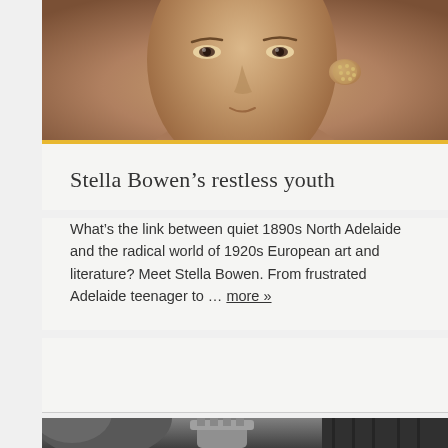[Figure (photo): Sepia-toned close-up portrait photograph of a woman's face, showing eyes, nose, and an ornate earring on the right side. Warm brown tones throughout.]
Stella Bowen’s restless youth
What’s the link between quiet 1890s North Adelaide and the radical world of 1920s European art and literature? Meet Stella Bowen. From frustrated Adelaide teenager to … more »
[Figure (photo): Black and white photograph showing figures outdoors, partially visible at the bottom of the page.]